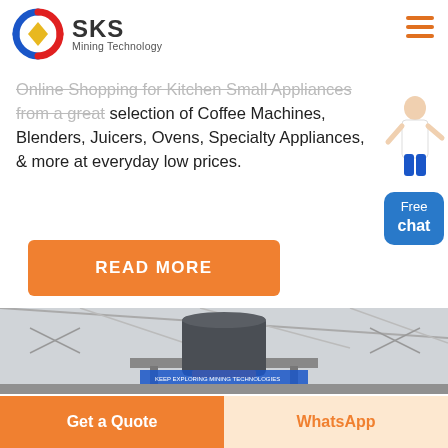[Figure (logo): SKS Mining Technology logo with circular red/blue arrow graphic and diamond icon]
Online Shopping for Kitchen Small Appliances from a great selection of Coffee Machines, Blenders, Juicers, Ovens, Specialty Appliances, & more at everyday low prices.
[Figure (illustration): Woman in white outfit pointing, used as a chat assistant avatar next to Free chat button]
[Figure (other): Blue rounded rectangle button labeled 'Free chat']
READ MORE
[Figure (photo): Industrial factory interior showing large mining machinery (cone crusher) on an elevated platform with steel roof trusses and banners in the background]
Get a Quote
WhatsApp